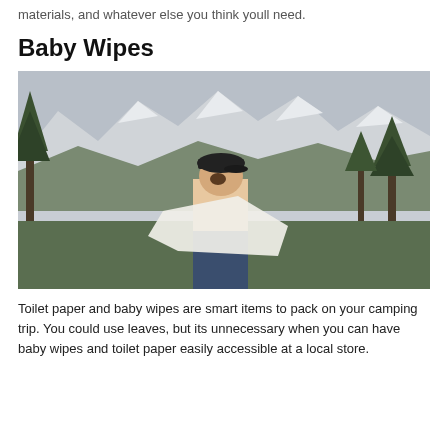materials, and whatever else you think youll need.
Baby Wipes
[Figure (photo): Person standing outdoors with back to camera, holding a large white cloth or wipe, wearing a dark baseball cap and jeans. Snow-capped mountains and pine trees visible in the background.]
Toilet paper and baby wipes are smart items to pack on your camping trip. You could use leaves, but its unnecessary when you can have baby wipes and toilet paper easily accessible at a local store.